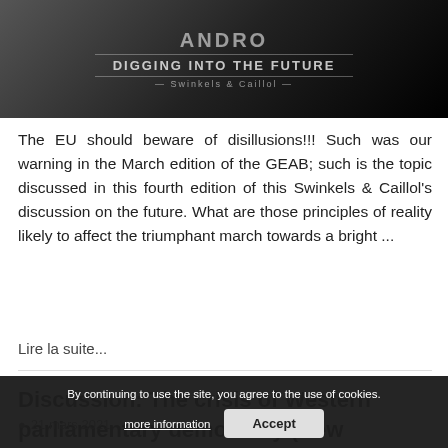[Figure (photo): Dark background image with overlaid text: 'DIGGING INTO THE FUTURE' and subtitle text below, stylized banner graphic]
The EU should beware of disillusions!!! Such was our warning in the March edition of the GEAB; such is the topic discussed in this fourth edition of this Swinkels & Caillol's discussion on the future. What are those principles of reality likely to affect the triumphant march towards a bright ...
Lire la suite...
Discussion: The crisis of Western parliamentary democracy (New European Perspectives)
By continuing to use the site, you agree to the use of cookies. more information Accept
21 mars 2021